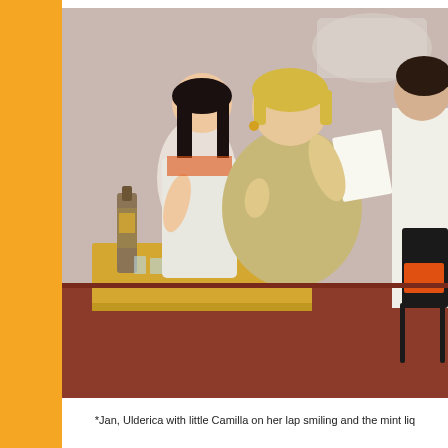[Figure (photo): A stage scene with three people: a young woman with long black hair looking down at something in her hands on the left, a larger woman with short blonde hair seated in the center holding papers and reading aloud, and a third person partially visible on the right. In the foreground is a table with liquor bottles and glasses. The background shows a stage with a projection screen.]
*Jan, Ulderica with little Camilla on her lap smiling and the mint liq